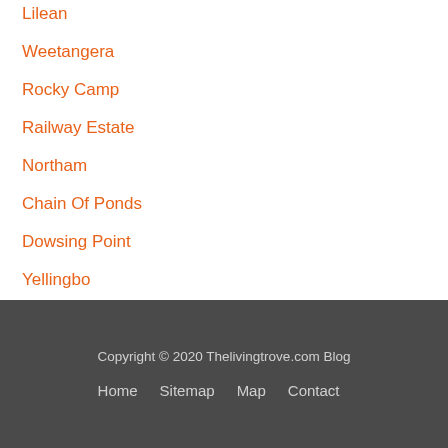Lilean
Weetangera
Rocky Camp
Railway Estate
Northam
Chain Of Ponds
Dowsing Point
Yellingbo
Copyright © 2020 Thelivingtrove.com Blog
Home   Sitemap   Map   Contact